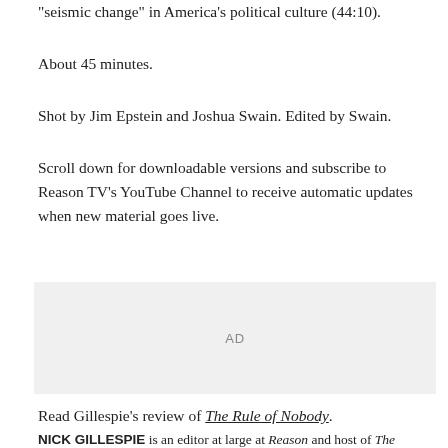"seismic change" in America's political culture (44:10).
About 45 minutes.
Shot by Jim Epstein and Joshua Swain. Edited by Swain.
Scroll down for downloadable versions and subscribe to Reason TV's YouTube Channel to receive automatic updates when new material goes live.
[Figure (other): Advertisement placeholder box with 'AD' label]
Read Gillespie's review of The Rule of Nobody.
NICK GILLESPIE is an editor at large at Reason and host of The Reason Interview With Nick Gillespie.